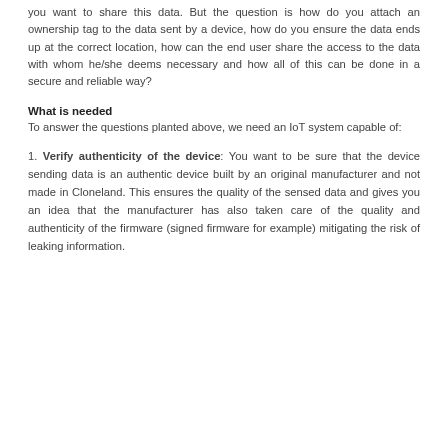you want to share this data. But the question is how do you attach an ownership tag to the data sent by a device, how do you ensure the data ends up at the correct location, how can the end user share the access to the data with whom he/she deems necessary and how all of this can be done in a secure and reliable way?
What is needed
To answer the questions planted above, we need an IoT system capable of:
1. Verify authenticity of the device: You want to be sure that the device sending data is an authentic device built by an original manufacturer and not made in Cloneland. This ensures the quality of the sensed data and gives you an idea that the manufacturer has also taken care of the quality and authenticity of the firmware (signed firmware for example) mitigating the risk of leaking information.